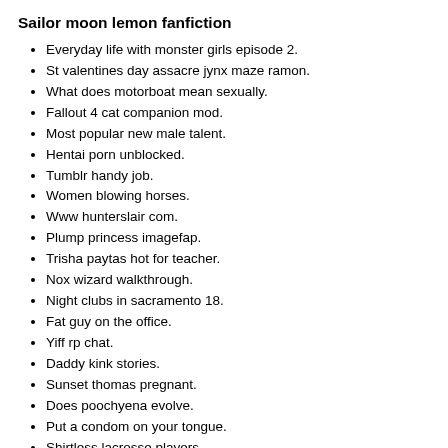Sailor moon lemon fanfiction
Everyday life with monster girls episode 2.
St valentines day assacre jynx maze ramon.
What does motorboat mean sexually.
Fallout 4 cat companion mod.
Most popular new male talent.
Hentai porn unblocked.
Tumblr handy job.
Women blowing horses.
Www hunterslair com.
Plump princess imagefap.
Trisha paytas hot for teacher.
Nox wizard walkthrough.
Night clubs in sacramento 18.
Fat guy on the office.
Yiff rp chat.
Daddy kink stories.
Sunset thomas pregnant.
Does poochyena evolve.
Put a condom on your tongue.
Shirtless lacrosse players.
email: wmpuxboeag@gmail.com - phone:(971) 807-6443 x 4799